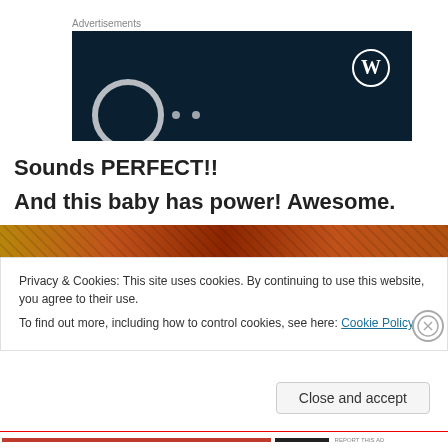Advertisements
[Figure (screenshot): Dark navy blue advertisement banner with WordPress logo (W in circle) in upper right, and a partial circular arc and two dots at the bottom left, resembling a website or app advertisement.]
Sounds PERFECT!!
And this baby has power! Awesome.
[Figure (photo): Partial view of an orange-brown textured image, possibly depicting wood or fire tones.]
Privacy & Cookies: This site uses cookies. By continuing to use this website, you agree to their use.
To find out more, including how to control cookies, see here: Cookie Policy
Close and accept